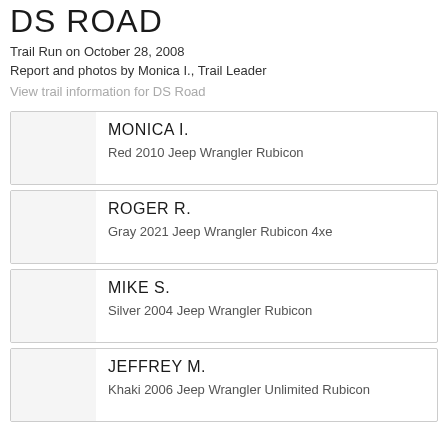DS ROAD
Trail Run on October 28, 2008
Report and photos by Monica I., Trail Leader
View trail information for DS Road
MONICA I. — Red 2010 Jeep Wrangler Rubicon
ROGER R. — Gray 2021 Jeep Wrangler Rubicon 4xe
MIKE S. — Silver 2004 Jeep Wrangler Rubicon
JEFFREY M. — Khaki 2006 Jeep Wrangler Unlimited Rubicon